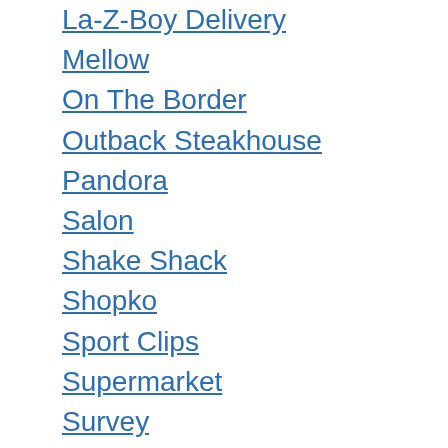La-Z-Boy Delivery
Mellow
On The Border
Outback Steakhouse
Pandora
Salon
Shake Shack
Shopko
Sport Clips
Supermarket
Survey
United Dairy Farmers
Walgreens